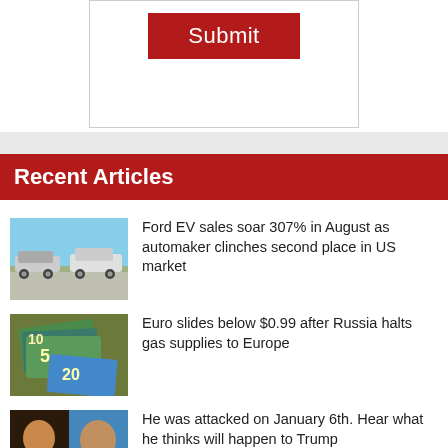[Figure (screenshot): A form section with a red Submit button]
Recent Articles
[Figure (photo): Thumbnail of Ford vehicles driving on a road]
Ford EV sales soar 307% in August as automaker clinches second place in US market
[Figure (photo): Thumbnail of Euro banknotes]
Euro slides below $0.99 after Russia halts gas supplies to Europe
[Figure (photo): CNN thumbnail with two people]
He was attacked on January 6th. Hear what he thinks will happen to Trump